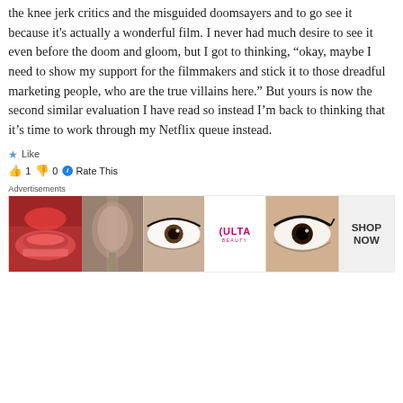the knee jerk critics and the misguided doomsayers and to go see it because it's actually a wonderful film. I never had much desire to see it even before the doom and gloom, but I got to thinking, “okay, maybe I need to show my support for the filmmakers and stick it to those dreadful marketing people, who are the true villains here.” But yours is now the second similar evaluation I have read so instead I’m back to thinking that it’s time to work through my Netflix queue instead.
★ Like
👍 1 👎 0 ⓘ Rate This
Advertisements
[Figure (photo): Ulta beauty advertisement banner showing makeup close-up images of lips, brush, eye, Ulta logo, eye makeup, with SHOP NOW text]